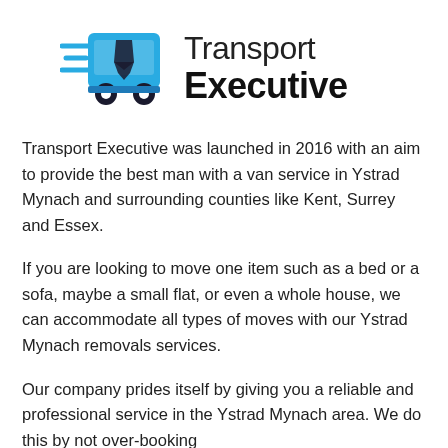[Figure (logo): Transport Executive logo: blue van/truck icon with motion lines on left, text 'Transport Executive' on right in black]
Transport Executive was launched in 2016 with an aim to provide the best man with a van service in Ystrad Mynach and surrounding counties like Kent, Surrey and Essex.
If you are looking to move one item such as a bed or a sofa, maybe a small flat, or even a whole house, we can accommodate all types of moves with our Ystrad Mynach removals services.
Our company prides itself by giving you a reliable and professional service in the Ystrad Mynach area. We do this by not over-booking and we allow more time per collection...